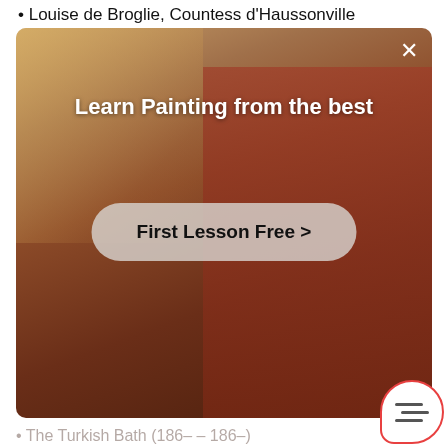Louise de Broglie, Countess d’Haussonville
[Figure (photo): Advertisement overlay showing a person painting with text 'Learn Painting from the best' and a 'First Lesson Free >' button]
The Turkish Bath (1862–1863)
Ingres employed a neoclassical style which made his pieces veritable works of art and is now carefully cared for in the Louvre.
New York’s MET museum also has great exhibit
The Card Sharp with the Ace of